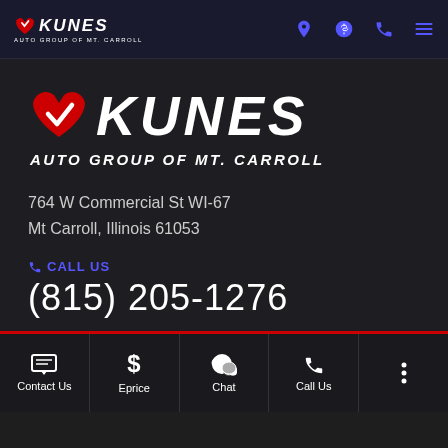Kunes Auto Group of Mt. Carroll - navigation bar with logo and icons
[Figure (logo): Kunes Auto Group of Mt. Carroll logo with heart checkmark and large KUNES text]
764 W Commercial St WI-67
Mt Carroll, Illinois 61053
CALL US
(815) 205-1276
Contact Us | Eprice | Chat | Call Us | more